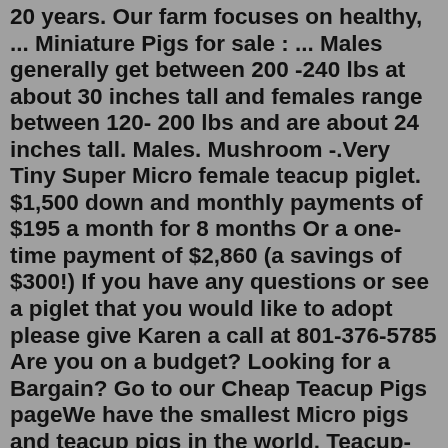20 years. Our farm focuses on healthy, ... Miniature Pigs for sale : ... Males generally get between 200 -240 lbs at about 30 inches tall and females range between 120- 200 lbs and are about 24 inches tall. Males. Mushroom -.Very Tiny Super Micro female teacup piglet. $1,500 down and monthly payments of $195 a month for 8 months Or a one-time payment of $2,860 (a savings of $300!) If you have any questions or see a piglet that you would like to adopt please give Karen a call at 801-376-5785 Are you on a budget? Looking for a Bargain? Go to our Cheap Teacup Pigs pageWe have the smallest Micro pigs and teacup pigs in the world. Teacup-pig-for-sale-in-Georgia | Teacup pigs in Georgia | Micro pigs| Mini pigs Call Us 801-376-5785 The Breeding standard for a teacup pig is up to 100 LBS. Most our pigs as adults will average between 15-40 LBS. Which is the size of a medium sized dog and very very small compared to pot belly pigs which will weigh between 200-400 LBS as adults. Juliana Breed. The Juliana is a small, colorfully spotted pig. It more closely resembles a small version of a large hog or